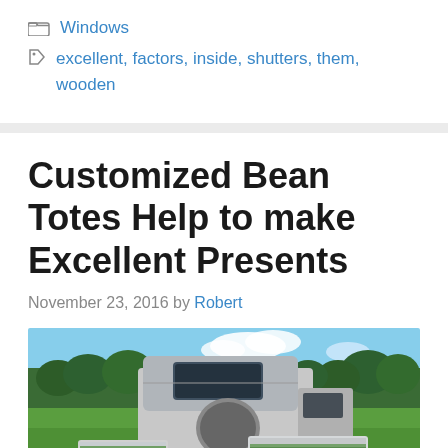Windows
excellent, factors, inside, shutters, them, wooden
Customized Bean Totes Help to make Excellent Presents
November 23, 2016 by Robert
[Figure (photo): Outdoor agricultural scene showing a truck with camper shell in a green field, with containers of harvested beans in the foreground and trees in the background under a blue sky.]